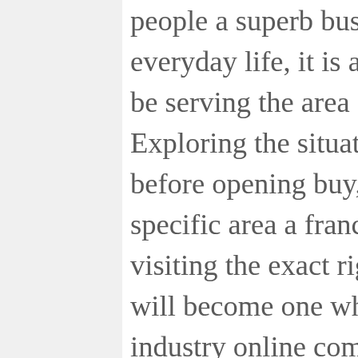being employed business people a superb business to manage their everyday life, it is actually essential that they can be serving the area around the ideal section. Exploring the situation is usually important well before opening buy, this is actually just a specific area a franchisor helps through. While visiting the exact right region, such a good firm will become one which other people in the industry online community count on. Easily examining your publications store will not yield this sort of adhere to straight away though rapid this will basically come by means of providing a great support and delivering quality products and solutions. This most takes a